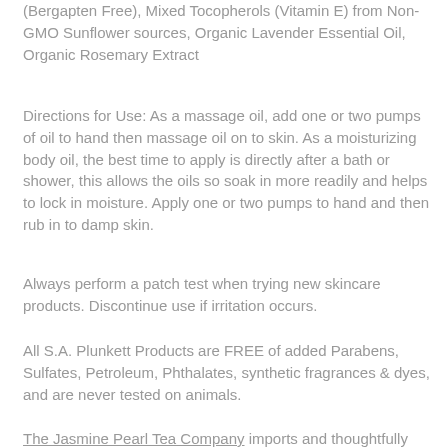(Bergapten Free), Mixed Tocopherols (Vitamin E) from Non-GMO Sunflower sources, Organic Lavender Essential Oil, Organic Rosemary Extract
Directions for Use: As a massage oil, add one or two pumps of oil to hand then massage oil on to skin. As a moisturizing body oil, the best time to apply is directly after a bath or shower, this allows the oils so soak in more readily and helps to lock in moisture. Apply one or two pumps to hand and then rub in to damp skin.
Always perform a patch test when trying new skincare products. Discontinue use if irritation occurs.
All S.A. Plunkett Products are FREE of added Parabens, Sulfates, Petroleum, Phthalates, synthetic fragrances & dyes, and are never tested on animals.
The Jasmine Pearl Tea Company imports and thoughtfully handcrafts all of their tea blends.  They specialize in